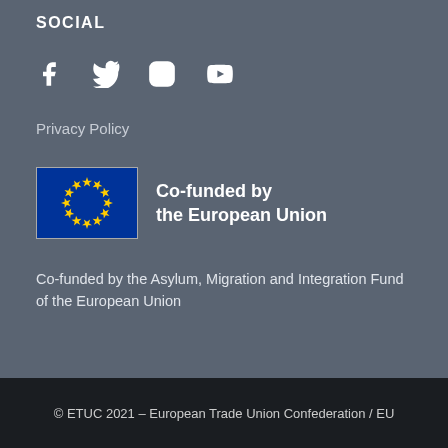SOCIAL
[Figure (illustration): Social media icons: Facebook, Twitter, Instagram, YouTube]
Privacy Policy
[Figure (logo): EU flag logo with text 'Co-funded by the European Union']
Co-funded by the Asylum, Migration and Integration Fund of the European Union
© ETUC 2021 – European Trade Union Confederation / EU